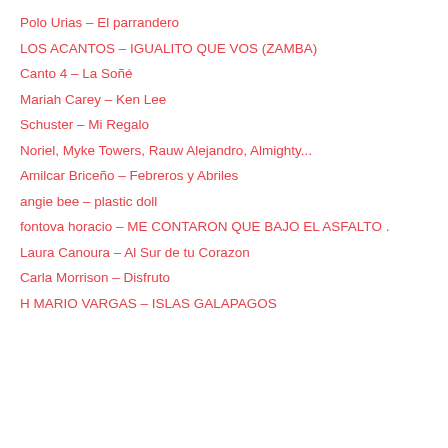Polo Urias – El parrandero
LOS ACANTOS – IGUALITO QUE VOS (ZAMBA)
Canto 4 – La Soñé
Mariah Carey – Ken Lee
Schuster – Mi Regalo
Noriel, Myke Towers, Rauw Alejandro, Almighty...
Amilcar Briceño – Febreros y Abriles
angie bee – plastic doll
fontova horacio – ME CONTARON QUE BAJO EL ASFALTO .
Laura Canoura – Al Sur de tu Corazon
Carla Morrison – Disfruto
H MARIO VARGAS – ISLAS GALAPAGOS